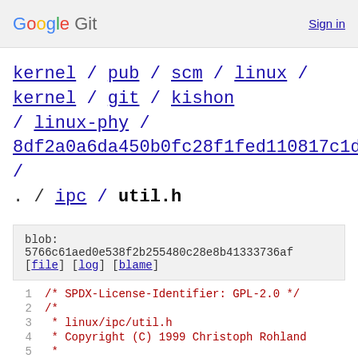Google Git  Sign in
kernel / pub / scm / linux / kernel / git / kishon / linux-phy / 8df2a0a6da450b0fc28f1fed110817c1d98b84c2 / . / ipc / util.h
blob: 5766c61aed0e538f2b255480c28e8b41333736af
[file] [log] [blame]
1  /* SPDX-License-Identifier: GPL-2.0 */
2  /*
3   * linux/ipc/util.h
4   * Copyright (C) 1999 Christoph Rohland
5   *
6   * ipc helper functions (c) 1999 Manfred Spraul
7   * namespaces support.      2006 OpenVZ, SWsoft
8   *                                Pavel Emelianov